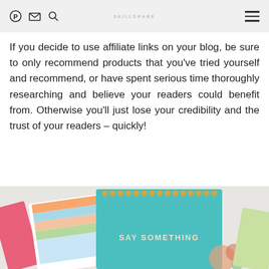Pinterest | Email | Search | SKILLSHARE | menu
If you decide to use affiliate links on your blog, be sure to only recommend products that you've tried yourself and recommend, or have spent serious time thoroughly researching and believe your readers could benefit from. Otherwise you'll just lose your credibility and the trust of your readers – quickly!
[Figure (photo): Photo of colorful notebooks and a teal spiral-bound notebook with 'SAY SOMETHING' text on the cover, arranged on a white surface.]